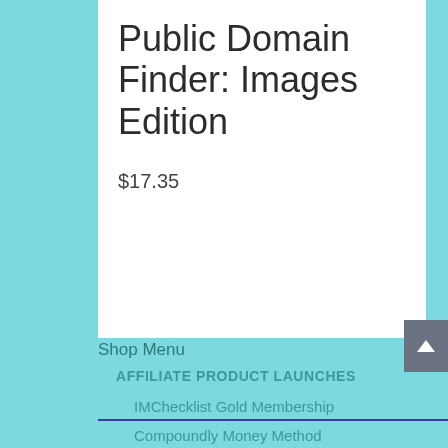Public Domain Finder: Images Edition
$17.35
Shop Menu
AFFILIATE PRODUCT LAUNCHES
IMChecklist Gold Membership
Compoundly Money Method
Guru Destroyer